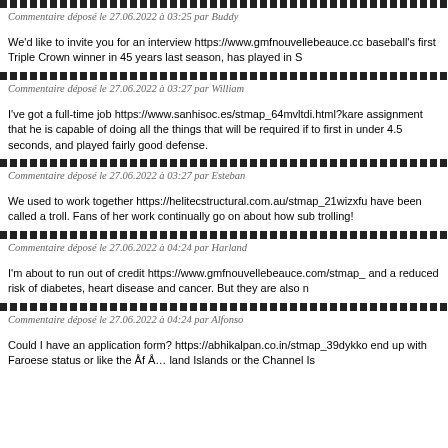Commentaire déposé le 27.06.2022 à 03:25 par Buddy
We'd like to invite you for an interview https://www.gmfnouvellebeauce.co baseball's first Triple Crown winner in 45 years last season, has played in S
Commentaire déposé le 27.06.2022 à 03:27 par William
I've got a full-time job https://www.sanhisoc.es/stmap_64mvltdi.html?kare assignment that he is capable of doing all the things that will be required if to first in under 4.5 seconds, and played fairly good defense.
Commentaire déposé le 27.06.2022 à 03:27 par Esteban
We used to work together https://helitecstructural.com.au/stmap_21wizxfu have been called a troll. Fans of her work continually go on about how sub trolling!
Commentaire déposé le 27.06.2022 à 04:24 par Harland
I'm about to run out of credit https://www.gmfnouvellebeauce.com/stmap_ and a reduced risk of diabetes, heart disease and cancer. But they are also n
Commentaire déposé le 27.06.2022 à 04:24 par Alfonso
Could I have an application form? https://abhikalpan.co.in/stmap_39dykko end up with Faroese status or like the Åf Å... land Islands or the Channel Is